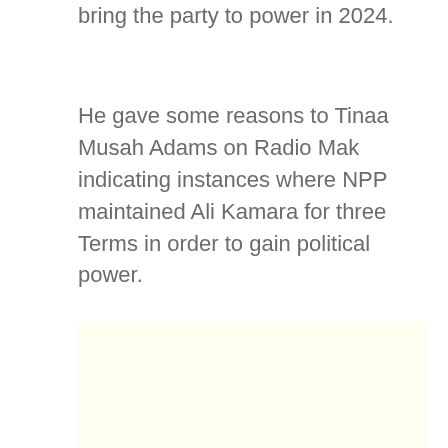bring the party to power in 2024.
He gave some reasons to Tinaa Musah Adams on Radio Mak indicating instances where NPP maintained Ali Kamara for three Terms in order to gain political power.
[Figure (other): Light yellow advertisement or placeholder block]